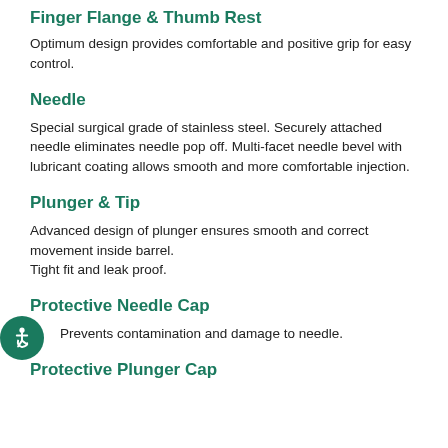Finger Flange & Thumb Rest
Optimum design provides comfortable and positive grip for easy control.
Needle
Special surgical grade of stainless steel. Securely attached needle eliminates needle pop off. Multi-facet needle bevel with lubricant coating allows smooth and more comfortable injection.
Plunger & Tip
Advanced design of plunger ensures smooth and correct movement inside barrel.
Tight fit and leak proof.
Protective Needle Cap
Prevents contamination and damage to needle.
Protective Plunger Cap